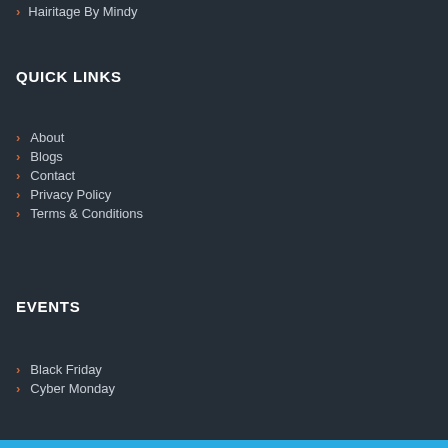Hairitage By Mindy
QUICK LINKS
About
Blogs
Contact
Privacy Policy
Terms & Conditions
EVENTS
Black Friday
Cyber Monday